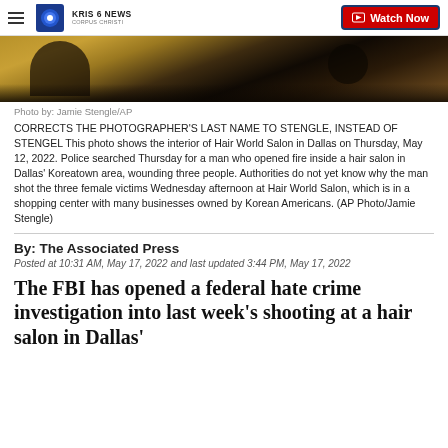KRIS 6 NEWS CORPUS CHRISTI | Watch Now
[Figure (photo): Interior of Hair World Salon in Dallas showing floor with debris]
Photo by: Jamie Stengle/AP
CORRECTS THE PHOTOGRAPHER'S LAST NAME TO STENGLE, INSTEAD OF STENGEL This photo shows the interior of Hair World Salon in Dallas on Thursday, May 12, 2022. Police searched Thursday for a man who opened fire inside a hair salon in Dallas' Koreatown area, wounding three people. Authorities do not yet know why the man shot the three female victims Wednesday afternoon at Hair World Salon, which is in a shopping center with many businesses owned by Korean Americans. (AP Photo/Jamie Stengle)
By: The Associated Press
Posted at 10:31 AM, May 17, 2022 and last updated 3:44 PM, May 17, 2022
The FBI has opened a federal hate crime investigation into last week's shooting at a hair salon in Dallas'